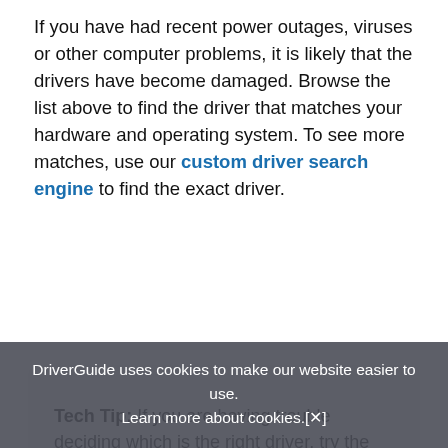If you have had recent power outages, viruses or other computer problems, it is likely that the drivers have become damaged. Browse the list above to find the driver that matches your hardware and operating system. To see more matches, use our custom driver search engine to find the exact driver.
Tech Tip: If you are having trouble deciding which is the right driver, try the Driver Update Utility for TomTom XXL Classic. It is a software utility that will find the right driver for you - automatically.
DriverGuide maintains an extensive archive of Windows drivers available for free download. We employ a team from around the world which adds hundreds of new drivers to our site every day.
DriverGuide uses cookies to make our website easier to use. Learn more about cookies. [X]